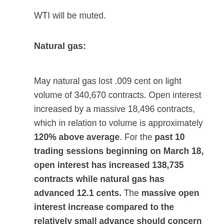WTI will be muted.
Natural gas:
May natural gas lost .009 cent on light volume of 340,670 contracts. Open interest increased by a massive 18,496 contracts, which in relation to volume is approximately 120% above average. For the past 10 trading sessions beginning on March 18, open interest has increased 138,735 contracts while natural gas has advanced 12.1 cents. The massive open interest increase compared to the relatively small advance should concern anyone long the market. There is heavy selling as the market advances, which is capping prices. Speculators have rushed into the long side,